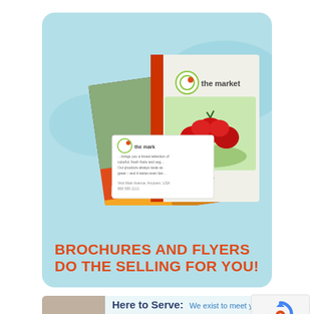[Figure (illustration): Light blue rounded card showing marketing brochures and flyers for 'the market' brand with Localmotion headline, featuring photos of a farmer's market store and fresh produce]
BROCHURES AND FLYERS DO THE SELLING FOR YOU!
[Figure (photo): Photo of a smiling middle-aged man with glasses in business attire, part of a 'Here to Serve' card]
Here to Serve: We exist to meet your
[Figure (other): reCAPTCHA privacy badge with circular arrow icon and Privacy · Terms text]